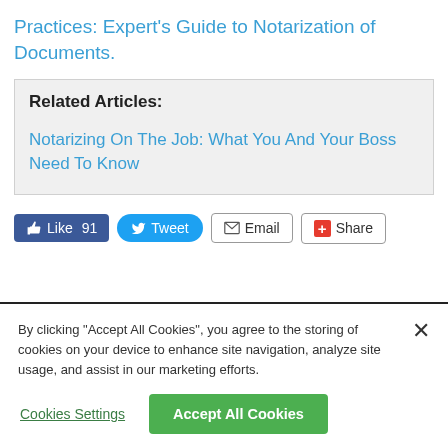Practices: Expert's Guide to Notarization of Documents.
Related Articles:
Notarizing On The Job: What You And Your Boss Need To Know
[Figure (screenshot): Social sharing buttons: Like 91 (Facebook), Tweet (Twitter), Email, Share (AddThis)]
By clicking “Accept All Cookies”, you agree to the storing of cookies on your device to enhance site navigation, analyze site usage, and assist in our marketing efforts.
Cookies Settings
Accept All Cookies